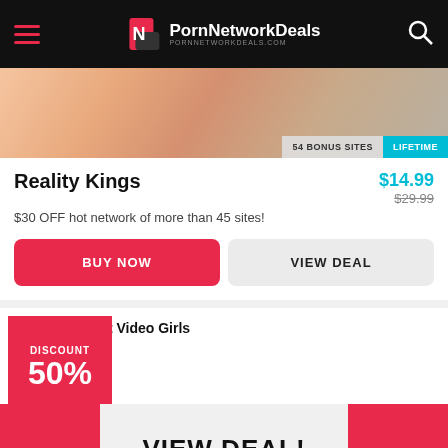PornNetworkDeals PORNNETWORKDEALS.COM
[Figure (photo): Partial photo banner with 54 BONUS SITES and LIFETIME badges]
Reality Kings
$14.99 $29.99
$30 OFF hot network of more than 45 sites!
BUY NOW
VIEW DEAL
Net Video Girls
DISCOUNT 50%
VIEW DEAL!